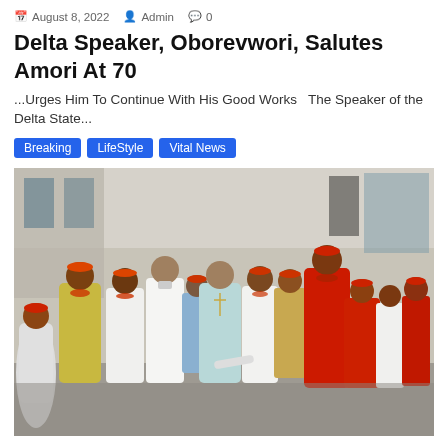August 8, 2022  Admin  0
Delta Speaker, Oborevwori, Salutes Amori At 70
...Urges Him To Continue With His Good Works   The Speaker of the Delta State...
Breaking
LifeStyle
Vital News
[Figure (photo): Group photo of approximately 15 people in traditional Nigerian attire — red and orange coral beads, red caps, white and red agbada robes — standing in front of a building. One person in the center wears a light blue outfit with a cross necklace.]